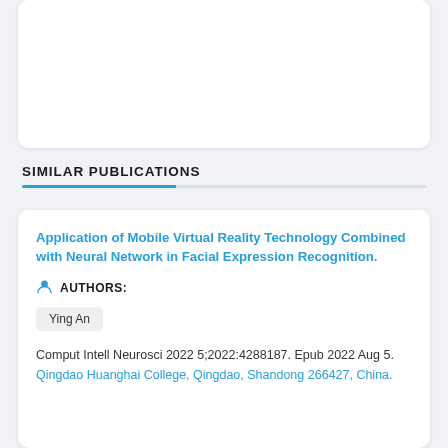SIMILAR PUBLICATIONS
Application of Mobile Virtual Reality Technology Combined with Neural Network in Facial Expression Recognition.
AUTHORS:
Ying An
Comput Intell Neurosci 2022 5;2022:4288187. Epub 2022 Aug 5.
Qingdao Huanghai College, Qingdao, Shandong 266427, China.